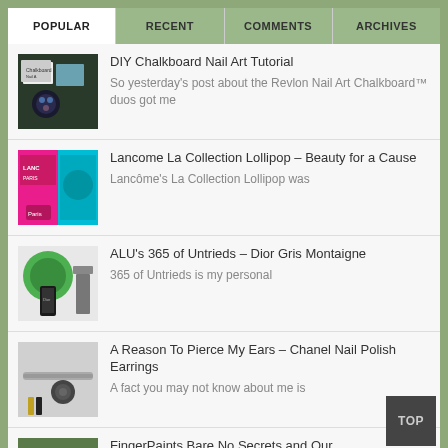POPULAR | RECENT | COMMENTS | ARCHIVES
DIY Chalkboard Nail Art Tutorial — So yesterday's post about the Revlon Nail Art Chalkboard™ duos got me
Lancome La Collection Lollipop – Beauty for a Cause — Lancôme's La Collection Lollipop was
ALU's 365 of Untrieds – Dior Gris Montaigne — 365 of Untrieds is my personal
A Reason To Pierce My Ears – Chanel Nail Polish Earrings — A fact you may not know about me is
FingerPaints Bare No Secrets and Our